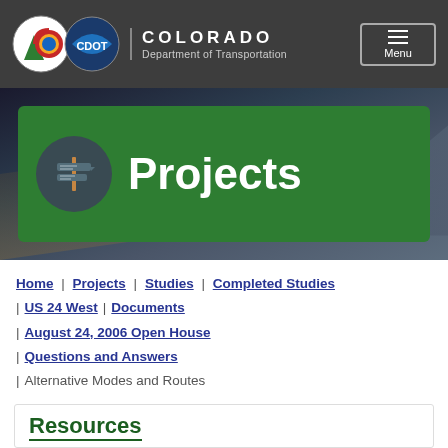COLORADO Department of Transportation
Projects
Home | Projects | Studies | Completed Studies | US 24 West | Documents | August 24, 2006 Open House | Questions and Answers | Alternative Modes and Routes
Resources